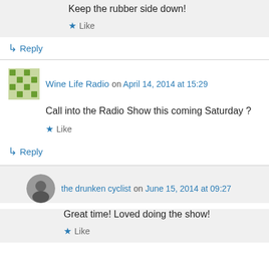Keep the rubber side down!
★ Like
↳ Reply
Wine Life Radio on April 14, 2014 at 15:29
Call into the Radio Show this coming Saturday ?
★ Like
↳ Reply
the drunken cyclist on June 15, 2014 at 09:27
Great time! Loved doing the show!
★ Like